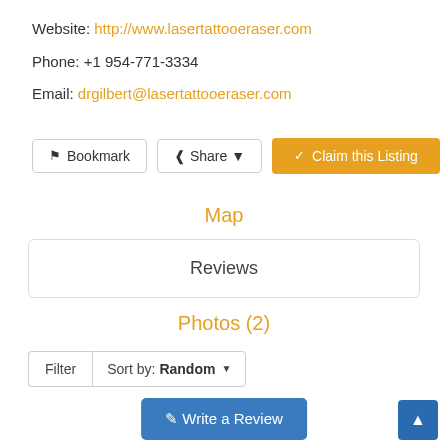Website: http://www.lasertattooeraser.com
Phone: +1 954-771-3334
Email: drgilbert@lasertattooeraser.com
Bookmark | Share | Claim this Listing
Map
Reviews
Photos (2)
Filter | Sort by: Random
Write a Review